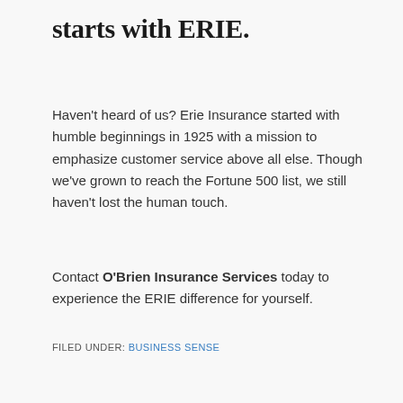starts with ERIE.
Haven't heard of us? Erie Insurance started with humble beginnings in 1925 with a mission to emphasize customer service above all else. Though we've grown to reach the Fortune 500 list, we still haven't lost the human touch.
Contact O'Brien Insurance Services today to experience the ERIE difference for yourself.
FILED UNDER: BUSINESS SENSE